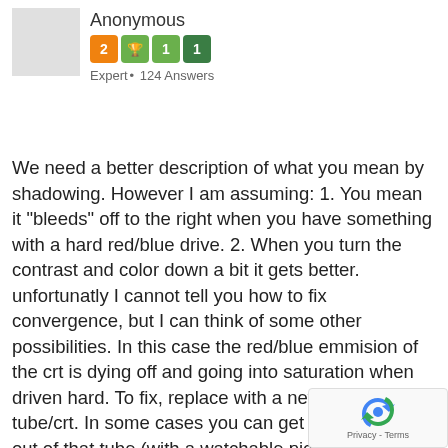Anonymous
Expert • 124 Answers
We need a better description of what you mean by shadowing. However I am assuming: 1. You mean it "bleeds" off to the right when you have something with a hard red/blue drive. 2. When you turn the contrast and color down a bit it gets better. unfortunatly I cannot tell you how to fix convergence, but I can think of some other possibilities. In this case the red/blue emmision of the crt is dying off and going into saturation when driven hard. To fix, replace with a new picture tube/crt. In some cases you can get a little more life out of that tube (with a watchable picture) by having the screen, focus, cathode bias, and drives slightly readjusted. It will take someone with experience in doing these adjustments on a worn tube to get it looking as good as possible. Given the construction of the cathodes (guns) in that crt, only...
[Figure (other): reCAPTCHA logo with Privacy - Terms text]